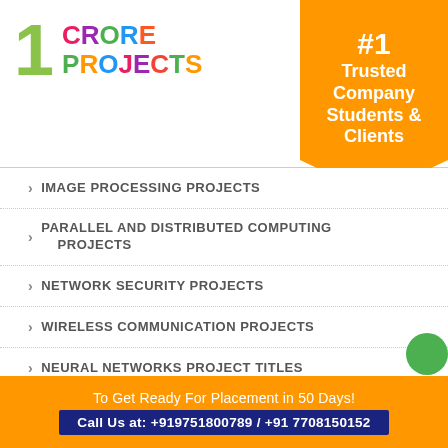[Figure (logo): 1 Crore Projects logo with colorful letters]
[Figure (illustration): #1 Trusted Company Students & Clients orange banner ribbon]
> IMAGE PROCESSING PROJECTS
> PARALLEL AND DISTRIBUTED COMPUTING PROJECTS
> NETWORK SECURITY PROJECTS
> WIRELESS COMMUNICATION PROJECTS
> NEURAL NETWORKS PROJECT TITLES
> ROBOTICS PROJECTS
To Get Ready For Placement in 50 Days!
Call Us at: +919751800789 / +91 7708150152